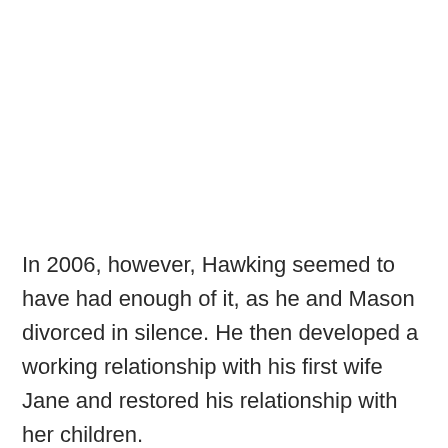In 2006, however, Hawking seemed to have had enough of it, as he and Mason divorced in silence. He then developed a working relationship with his first wife Jane and restored his relationship with her children.